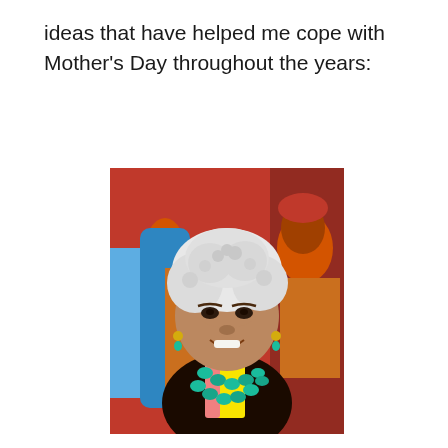ideas that have helped me cope with Mother's Day throughout the years:
[Figure (photo): An elderly woman with short white curly hair, wearing a black top with a colorful yellow scarf and large turquoise bead necklace, smiling warmly in front of a colorful mural depicting figures in red, blue, and other vivid colors.]